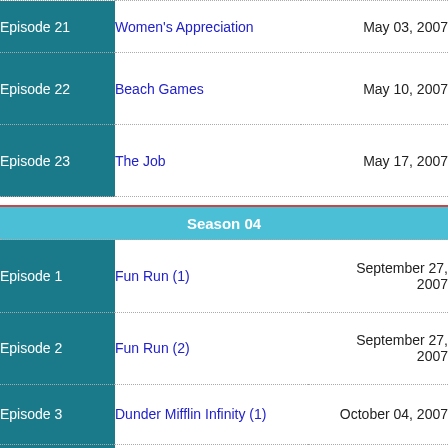| Episode | Title | Air Date |
| --- | --- | --- |
| Episode 21 | Women's Appreciation | May 03, 2007 |
| Episode 22 | Beach Games | May 10, 2007 |
| Episode 23 | The Job | May 17, 2007 |
Season 04
| Episode | Title | Air Date |
| --- | --- | --- |
| Episode 1 | Fun Run (1) | September 27, 2007 |
| Episode 2 | Fun Run (2) | September 27, 2007 |
| Episode 3 | Dunder Mifflin Infinity (1) | October 04, 2007 |
| Episode 4 | Dunder Mifflin Infinity (2) | October 04, 2007 |